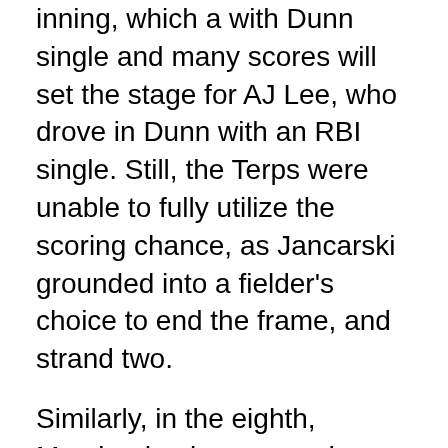inning, which a with Dunn single and many scores will set the stage for AJ Lee, who drove in Dunn with an RBI single. Still, the Terps were unable to fully utilize the scoring chance, as Jancarski grounded into a fielder's choice to end the frame, and strand two.
Similarly, in the eighth, Maryland only managed one run after placing runners on the corners with one out. Although Watson drove the game-tying run home, it was on a double play, effectively ending the greater opportunity.
The extra inning rally, aided by poor control for Northwestern reliever Josh Levy and a fielding blunder on Tommy Gardiner's bunt, gave Maryland its first conference win of the year, and its first win in extra innings since April 26, 2016.
It wasn't a pretty game, as Maryland scored runs on were